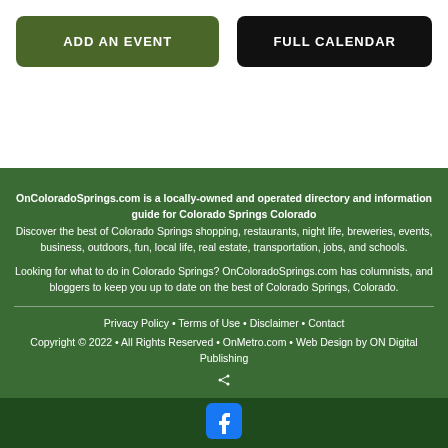ADD AN EVENT
FULL CALENDAR
OnColoradoSprings.com is a locally-owned and operated directory and information guide for Colorado Springs Colorado
Discover the best of Colorado Springs shopping, restaurants, night life, breweries, events, business, outdoors, fun, local life, real estate, transportation, jobs, and schools.

Looking for what to do in Colorado Springs? OnColoradoSprings.com has columnists, and bloggers to keep you up to date on the best of Colorado Springs, Colorado.
Privacy Policy • Terms of Use • Disclaimer • Contact
Copyright © 2022 • All Rights Reserved • OnMetro.com • Web Design by ON Digital Publishing
[Figure (logo): Facebook logo icon in white on dark green background]